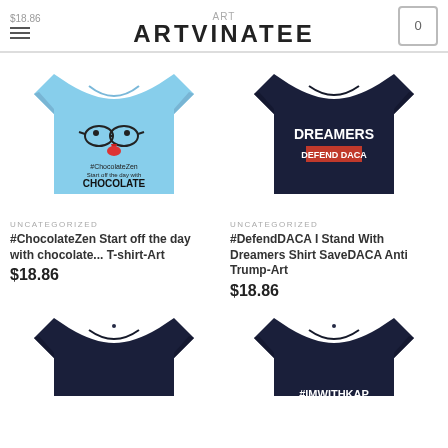ARTVINATEE
[Figure (photo): Light blue t-shirt with cartoon face wearing glasses and #ChocolateZen text with CHOCOLATE written large]
[Figure (photo): Dark navy t-shirt with DREAMERS DEFEND DACA text in white and red]
UNCATEGORIZED
#ChocolateZen Start off the day with chocolate... T-shirt-Art
$18.86
UNCATEGORIZED
#DefendDACA I Stand With Dreamers Shirt SaveDACA Anti Trump-Art
$18.86
[Figure (photo): Dark navy t-shirt partially visible from bottom]
[Figure (photo): Dark navy t-shirt with #IMWITHKAP text partially visible from bottom]